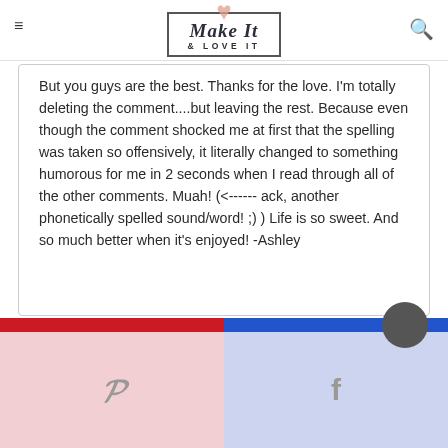Make It & LOVE IT
But you guys are the best. Thanks for the love. I'm totally deleting the comment....but leaving the rest. Because even though the comment shocked me at first that the spelling was taken so offensively, it literally changed to something humorous for me in 2 seconds when I read through all of the other comments. Muah! (<------ ack, another phonetically spelled sound/word! ;) ) Life is so sweet. And so much better when it's enjoyed! -Ashley
[Figure (other): Red and blue horizontal bar followed by Pinterest and Facebook social share buttons]
[Figure (other): Gray circular avatar icon in lower right]